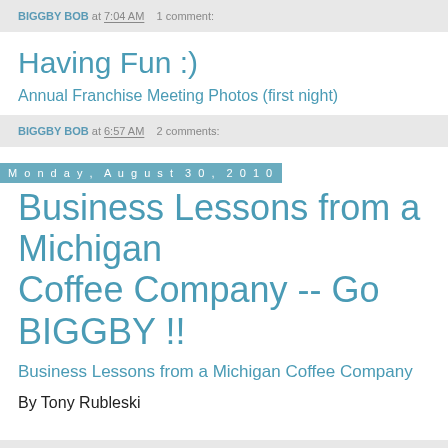BIGGBY BOB at 7:04 AM   1 comment:
Having Fun :)
Annual Franchise Meeting Photos (first night)
BIGGBY BOB at 6:57 AM   2 comments:
Monday, August 30, 2010
Business Lessons from a Michigan Coffee Company -- Go BIGGBY !!
Business Lessons from a Michigan Coffee Company
By Tony Rubleski